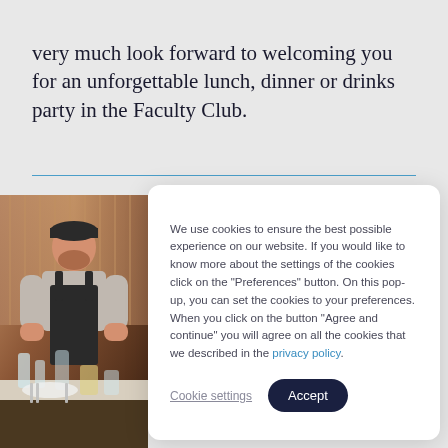very much look forward to welcoming you for an unforgettable lunch, dinner or drinks party in the Faculty Club.
[Figure (photo): A smiling chef or waiter in a black apron and dark cap, standing at a restaurant table set with glasses and cutlery.]
We use cookies to ensure the best possible experience on our website. If you would like to know more about the settings of the cookies click on the "Preferences" button. On this pop-up, you can set the cookies to your preferences. When you click on the button "Agree and continue" you will agree on all the cookies that we described in the privacy policy.
Cookie settings | Accept